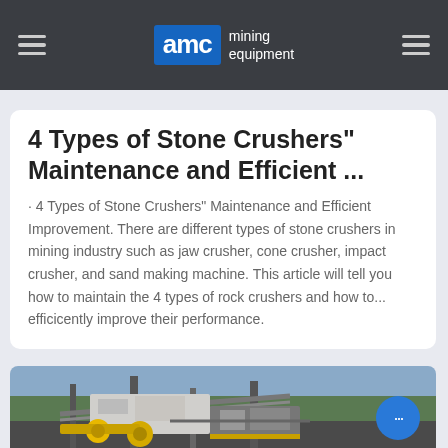AMC mining equipment
4 Types of Stone Crushers" Maintenance and Efficient ...
· 4 Types of Stone Crushers" Maintenance and Efficient Improvement. There are different types of stone crushers in mining industry such as jaw crusher, cone crusher, impact crusher, and sand making machine. This article will tell you how to maintain the 4 types of rock crushers and how to... efficicently improve their performance.
[Figure (photo): Outdoor industrial stone crusher / mining equipment installation with yellow machinery components, conveyor belts, and green forested hills in the background.]